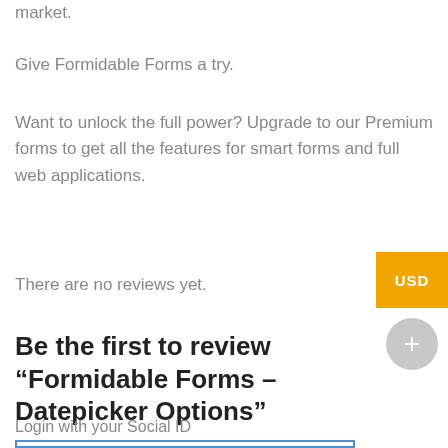market.
Give Formidable Forms a try.
Want to unlock the full power? Upgrade to our Premium forms to get all the features for smart forms and full web applications.
There are no reviews yet.
Be the first to review “Formidable Forms – Datepicker Options”
Login with your Social ID